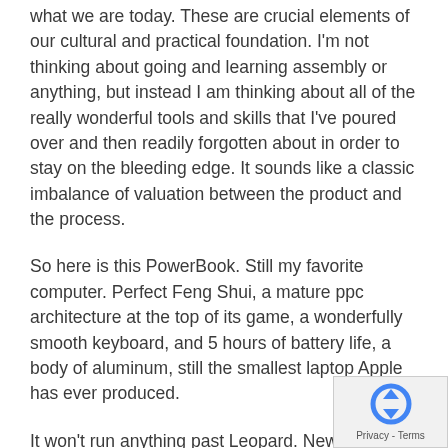what we are today. These are crucial elements of our cultural and practical foundation. I'm not thinking about going and learning assembly or anything, but instead I am thinking about all of the really wonderful tools and skills that I've poured over and then readily forgotten about in order to stay on the bleeding edge. It sounds like a classic imbalance of valuation between the product and the process.
So here is this PowerBook. Still my favorite computer. Perfect Feng Shui, a mature ppc architecture at the top of its game, a wonderfully smooth keyboard, and 5 hours of battery life, a body of aluminum, still the smallest laptop Apple has ever produced.
It won't run anything past Leopard. New applications won't run on its ppc processor. Even getting a modern browser to run on it requires Firefox on Linux to be barely in the game.